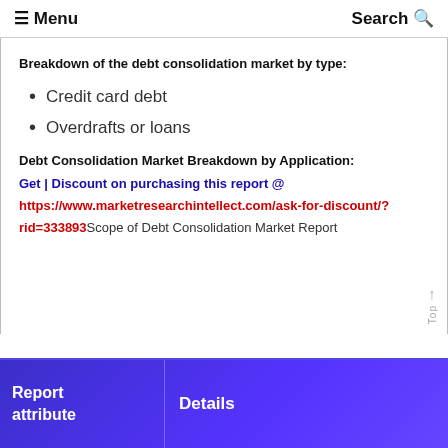≡ Menu  Search Q
Breakdown of the debt consolidation market by type:
Credit card debt
Overdrafts or loans
Debt Consolidation Market Breakdown by Application:
Get | Discount on purchasing this report @
https://www.marketresearchintellect.com/ask-for-discount/?rid=333893Scope of Debt Consolidation Market Report
| Report attribute | Details |
| --- | --- |